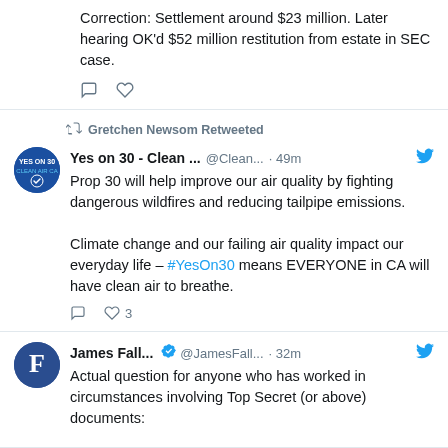Correction: Settlement around $23 million. Later hearing OK'd $52 million restitution from estate in SEC case.
Gretchen Newsom Retweeted
Yes on 30 - Clean ... @Clean... · 49m
Prop 30 will help improve our air quality by fighting dangerous wildfires and reducing tailpipe emissions.

Climate change and our failing air quality impact our everyday life – #YesOn30 means EVERYONE in CA will have clean air to breathe.
James Fall... @JamesFall... · 32m
Actual question for anyone who has worked in circumstances involving Top Secret (or above) documents: